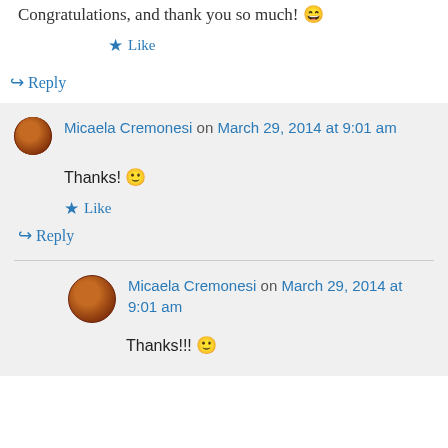Congratulations, and thank you so much! 😄
★ Like
↪ Reply
Micaela Cremonesi on March 29, 2014 at 9:01 am
Thanks! 🙂
★ Like
↪ Reply
Micaela Cremonesi on March 29, 2014 at 9:01 am
Thanks!!! 🙂